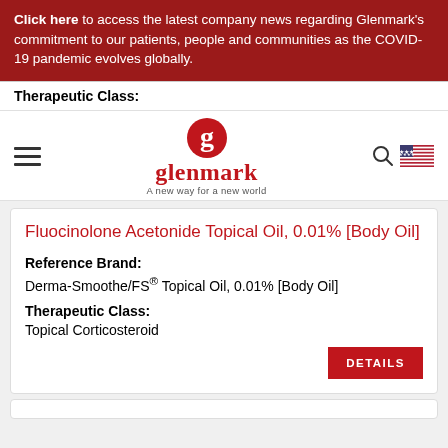Click here to access the latest company news regarding Glenmark's commitment to our patients, people and communities as the COVID-19 pandemic evolves globally.
[Figure (logo): Glenmark pharmaceutical company logo with red G icon and tagline 'A new way for a new world']
Therapeutic Class:
Fluocinolone Acetonide Topical Oil, 0.01% [Body Oil]
Reference Brand:
Derma-Smoothe/FS® Topical Oil, 0.01% [Body Oil]
Therapeutic Class:
Topical Corticosteroid